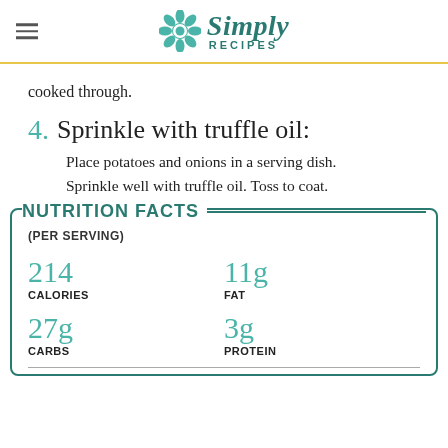Simply Recipes
cooked through.
4. Sprinkle with truffle oil: Place potatoes and onions in a serving dish. Sprinkle well with truffle oil. Toss to coat.
|  |  |
| --- | --- |
| 214 CALORIES | 11g FAT |
| 27g CARBS | 3g PROTEIN |